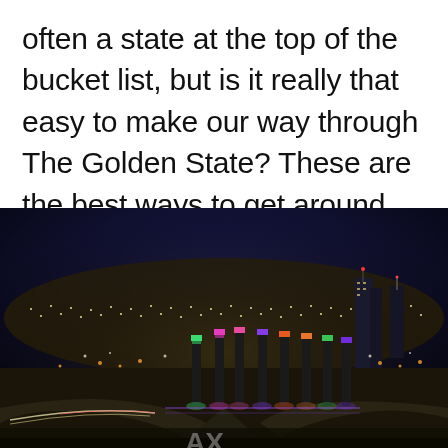often a state at the top of the bucket list, but is it really that easy to make our way through The Golden State? These are the best ways to get around California.
[Figure (photo): Night aerial view of a California city (Los Angeles area) with illuminated highway interchanges and tall colorful light pillars lit in pink, orange, green and purple, city lights spread across the background under a dark night sky.]